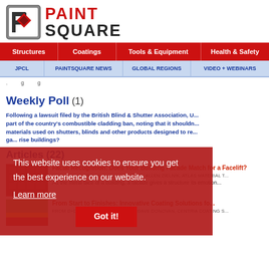[Figure (logo): PaintSquare logo with red diamond P icon and bold text PAINT SQUARE]
Structures | Coatings | Tools & Equipment | Health & Safety
JPCL | PAINTSQUARE NEWS | GLOBAL REGIONS | VIDEO + WEBINARS
.       g       g
Weekly Poll (1)
Following a lawsuit filed by the British Blind & Shutter Association, UK ... part of the country's combustible cladding ban, noting that it shouldn... materials used on shutters, blinds and other products designed to re... ga... rise buildings?
Articles (22)
[Figure (photo): Red thumbnail image for Facial Recognition article]
Facial Recognition: Does Your Building Facade Match for a Facelift?
FROM D+D IN DEPTH, AUGUST 2017 | BY ALLEN ZIELNIK, ATLAS MATERIAL T...
As the literal face of a building, a facade gives a structure its emotion...
[Figure (photo): Thumbnail image for Innovative Coating Solutions article]
From Start to Finishes: Innovative Coating Solutions fo...
FROM D+D IN DEPTH, JULY 2017 | BY DAVE DONOVAN, CENTRIA COATING S...
This website uses cookies to ensure you get the best experience on our website.
Learn more
Got it!